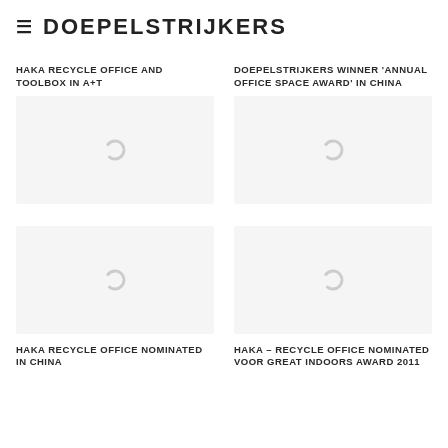≡ DOEPELSTRIJKERS
HAKA RECYCLE OFFICE AND TOOLBOX IN A+T
DOEPELSTRIJKERS WINNER 'ANNUAL OFFICE SPACE AWARD' IN CHINA
[Figure (photo): Loading placeholder / spinner for HAKA Recycle Office A+T article image]
[Figure (photo): Loading placeholder / spinner for Doepelstrijkers Annual Office Space Award article image]
HAKA RECYCLE OFFICE NOMINATED IN CHINA
HAKA – RECYCLE OFFICE NOMINATED VOOR GREAT INDOORS AWARD 2011
[Figure (photo): Loading placeholder / spinner for HAKA Recycle Office Nominated in China article image]
[Figure (photo): Loading placeholder / spinner for HAKA Great Indoors Award 2011 article image]